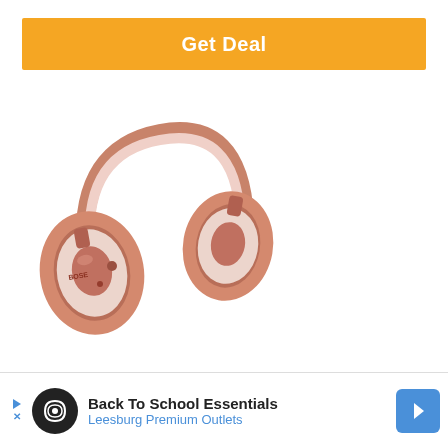Get Deal
[Figure (photo): Bose QuietComfort wireless headphones in rose gold/pink color with white ear cushions and headband padding, viewed from a slight angle]
Back To School Essentials
Leesburg Premium Outlets